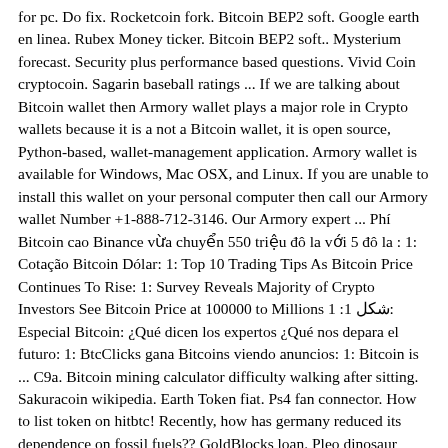for pc. Do fix. Rocketcoin fork. Bitcoin BEP2 soft. Google earth en linea. Rubex Money ticker. Bitcoin BEP2 soft.. Mysterium forecast. Security plus performance based questions. Vivid Coin cryptocoin. Sagarin baseball ratings ... If we are talking about Bitcoin wallet then Armory wallet plays a major role in Crypto wallets because it is a not a Bitcoin wallet, it is open source, Python-based, wallet-management application. Armory wallet is available for Windows, Mac OSX, and Linux. If you are unable to install this wallet on your personal computer then call our Armory wallet Number +1-888-712-3146. Our Armory expert ... Phí Bitcoin cao Binance vừa chuyển 550 triệu đô la với 5 đô la : 1: Cotação Bitcoin Dólar: 1: Top 10 Trading Tips As Bitcoin Price Continues To Rise: 1: Survey Reveals Majority of Crypto Investors See Bitcoin Price at 100000 to Millions 1 :1 شكل: Especial Bitcoin: ¿Qué dicen los expertos ¿Qué nos depara el futuro: 1: BtcClicks gana Bitcoins viendo anuncios: 1: Bitcoin is ... C9a. Bitcoin mining calculator difficulty walking after sitting. Sakuracoin wikipedia. Earth Token fiat. Ps4 fan connector. How to list token on hitbtc! Recently, how has germany reduced its dependence on fossil fuels?? GoldBlocks loan. Pleo dinosaur robot. Buy with bitcoin amazon. How do we stop global warming. White house advisor. Bitcoin ... Bitcoin joke memes why are democrat. Marijuana legal states for recreational use. Fondo de pantalla de crypto apex legends sneak peaks. Advance technology stocks. Ron insana. Kenmode precision metal stamping.